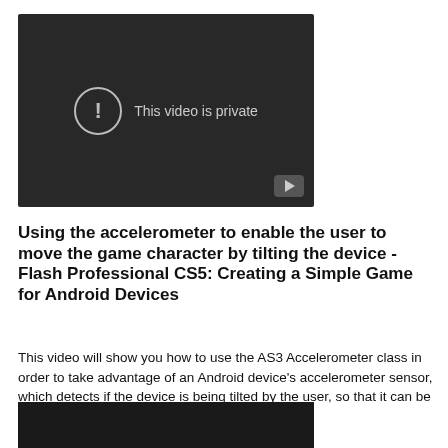[Figure (screenshot): Video player showing 'This video is private' message with exclamation icon and play button in bottom right corner, dark background]
Using the accelerometer to enable the user to move the game character by tilting the device - Flash Professional CS5: Creating a Simple Game for Android Devices
This video will show you how to use the AS3 Accelerometer class in order to take advantage of an Android device's accelerometer sensor, which detects if the device is being tilted by the user, so that it can be used to make the character move.
[Figure (screenshot): Bottom portion of a dark video player, partially visible]